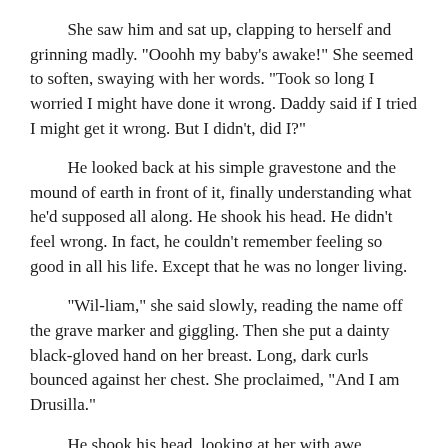She saw him and sat up, clapping to herself and grinning madly. "Ooohh my baby's awake!" She seemed to soften, swaying with her words. "Took so long I worried I might have done it wrong. Daddy said if I tried I might get it wrong. But I didn't, did I?"
He looked back at his simple gravestone and the mound of earth in front of it, finally understanding what he'd supposed all along. He shook his head. He didn't feel wrong. In fact, he couldn't remember feeling so good in all his life. Except that he was no longer living.
"Wil-liam," she said slowly, reading the name off the grave marker and giggling. Then she put a dainty black-gloved hand on her breast. Long, dark curls bounced against her chest. She proclaimed, "And I am Drusilla."
He shook his head, looking at her with awe. "You're a bloody dark Princess is what you are," William said, feeling pulled to her. He wanted her, wanted everything about her, wanted to belong to her, and wanted her to belong to him.